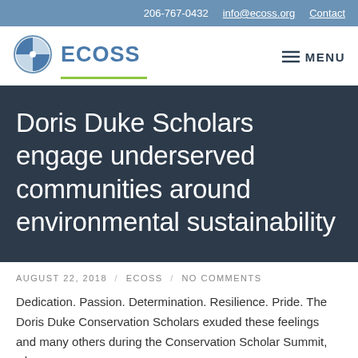206-767-0432  info@ecoss.org  Contact
[Figure (logo): ECOSS organization logo with circular globe-like icon and text ECOSS with green underline, plus hamburger MENU button]
Doris Duke Scholars engage underserved communities around environmental sustainability
AUGUST 22, 2018  /  ECOSS  /  NO COMMENTS
Dedication. Passion. Determination. Resilience. Pride. The Doris Duke Conservation Scholars exuded these feelings and many others during the Conservation Scholar Summit, where